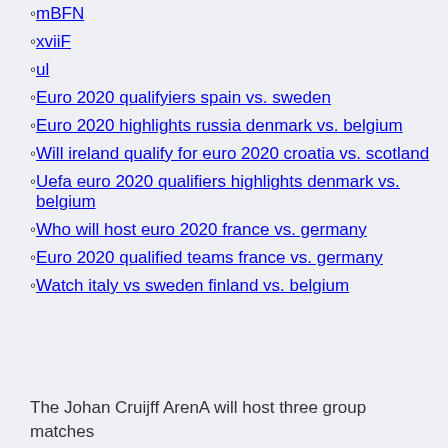mBFN
xviiF
ul
Euro 2020 qualifyiers spain vs. sweden
Euro 2020 highlights russia denmark vs. belgium
Will ireland qualify for euro 2020 croatia vs. scotland
Uefa euro 2020 qualifiers highlights denmark vs. belgium
Who will host euro 2020 france vs. germany
Euro 2020 qualified teams france vs. germany
Watch italy vs sweden finland vs. belgium
The Johan Cruijff ArenA will host three group matches